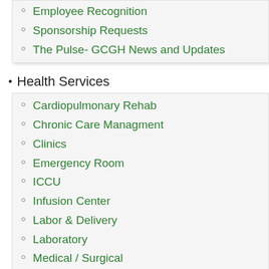Employee Recognition
Sponsorship Requests
The Pulse- GCGH News and Updates
Health Services
Cardiopulmonary Rehab
Chronic Care Managment
Clinics
Emergency Room
ICCU
Infusion Center
Labor & Delivery
Laboratory
Medical / Surgical
Orthopedics and Sports Medicine
Pharmacy
Radiology